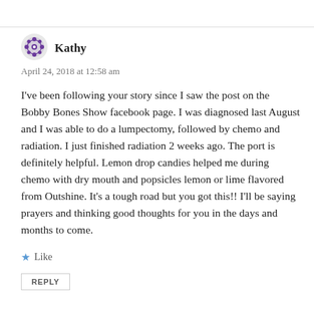[Figure (illustration): Purple decorative avatar icon for user Kathy]
Kathy
April 24, 2018 at 12:58 am
I've been following your story since I saw the post on the Bobby Bones Show facebook page. I was diagnosed last August and I was able to do a lumpectomy, followed by chemo and radiation. I just finished radiation 2 weeks ago. The port is definitely helpful. Lemon drop candies helped me during chemo with dry mouth and popsicles lemon or lime flavored from Outshine. It's a tough road but you got this!! I'll be saying prayers and thinking good thoughts for you in the days and months to come.
Like
REPLY